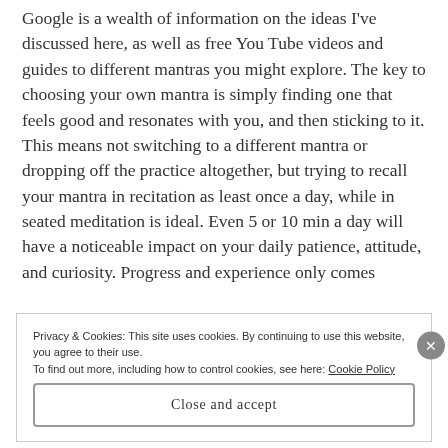Google is a wealth of information on the ideas I've discussed here, as well as free You Tube videos and guides to different mantras you might explore. The key to choosing your own mantra is simply finding one that feels good and resonates with you, and then sticking to it. This means not switching to a different mantra or dropping off the practice altogether, but trying to recall your mantra in recitation as least once a day, while in seated meditation is ideal. Even 5 or 10 min a day will have a noticeable impact on your daily patience, attitude, and curiosity. Progress and experience only comes
Privacy & Cookies: This site uses cookies. By continuing to use this website, you agree to their use.
To find out more, including how to control cookies, see here: Cookie Policy
Close and accept